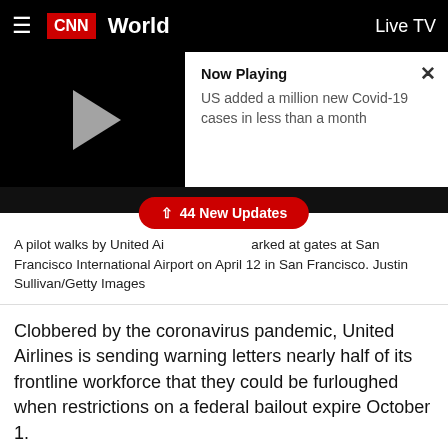CNN World | Live TV
[Figure (screenshot): Video player panel showing a paused video with play button on black background, 'Now Playing' label, text 'US added a million new Covid-19 cases in less than a month', and an X close button]
[Figure (other): Red pill-shaped button overlay reading '↑ 44 New Updates']
A pilot walks by United Ai[rlines planes p]arked at gates at San Francisco International Airport on April 12 in San Francisco. Justin Sullivan/Getty Images
Clobbered by the coronavirus pandemic, United Airlines is sending warning letters nearly half of its frontline workforce that they could be furloughed when restrictions on a federal bailout expire October 1.
The world's third-largest airline says 36,000 workers — including 15,000 flight attendants, 11,000 customer